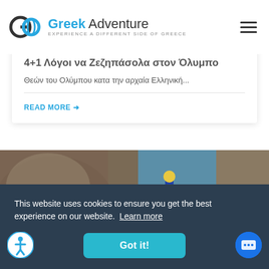Greek Adventure — EXPERIENCE A DIFFERENT SIDE OF GREECE
4+1 Λόγοι να Ζεζηπάσoλα στον Όλυμπο
Θεών του Ολύμπου κατα την αρχαία Ελληνική...
READ MORE →
[Figure (photo): Adventure canyoning/climbing photo showing people in helmets navigating rocky terrain with water]
This website uses cookies to ensure you get the best experience on our website. Learn more
Got it!